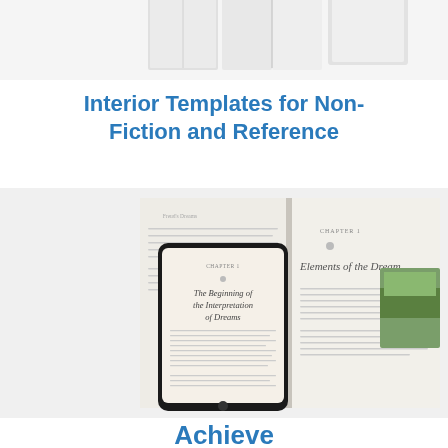[Figure (photo): Top portion of page showing white/gray book spines or tablets on a white background, partially cropped at the top]
Interior Templates for Non-Fiction and Reference
[Figure (photo): An open book showing 'Elements of the Dream' chapter heading on the right page, with a tablet/iPad in front showing 'The Beginning of the Interpretation of Dreams' chapter, and a nature photo visible in the background]
Achieve